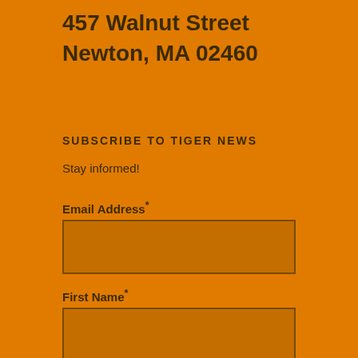457 Walnut Street
Newton, MA 02460
SUBSCRIBE TO TIGER NEWS
Stay informed!
Email Address*
First Name*
Last Name*